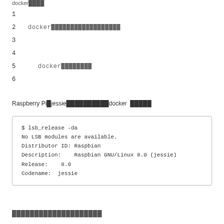docker████
1
2    docker██████████████████
3
4
5       docker████████
6
Raspberry Pi█jessie██████████docker  █████
$ lsb_release -da
No LSB modules are available.
Distributor ID: Raspbian
Description:    Raspbian GNU/Linux 8.0 (jessie)
Release:    8.0
Codename:  jessie
████████████████████